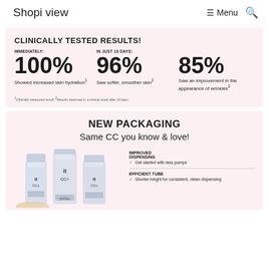Shopi view   ☰ Menu   🔍
CLINICALLY TESTED RESULTS!
IMMEDIATELY: 100% Showed increased skin hydration¹
IN JUST 10 DAYS: 96% Saw softer, smoother skin²
85% Saw an improvement in the appearance of wrinkles²
¹Clinically measured result. ²Results observed in a clinical study after 10 days.
NEW PACKAGING
Same CC you know & love!
[Figure (photo): Three IT Cosmetics CC+ cream tubes in iridescent/holistic packaging with SPF 50+ visible on labels]
IMPROVED DISPENSING — ✓ Get started with less pumps
EFFICIENT TUBE — ✓ Shorter height for consistent, clean dispensing